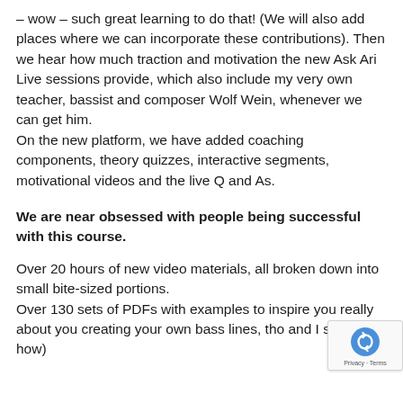– wow – such great learning to do that! (We will also add places where we can incorporate these contributions). Then we hear how much traction and motivation the new Ask Ari Live sessions provide, which also include my very own teacher, bassist and composer Wolf Wein, whenever we can get him.
On the new platform, we have added coaching components, theory quizzes, interactive segments, motivational videos and the live Q and As.
We are near obsessed with people being successful with this course.
Over 20 hours of new video materials, all broken down into small bite-sized portions.
Over 130 sets of PDFs with examples to inspire you really about you creating your own bass lines, tho and I show you how)